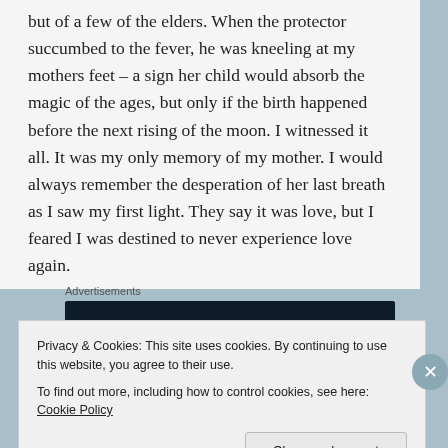but of a few of the elders. When the protector succumbed to the fever, he was kneeling at my mothers feet – a sign her child would absorb the magic of the ages, but only if the birth happened before the next rising of the moon. I witnessed it all. It was my only memory of my mother. I would always remember the desperation of her last breath as I saw my first light. They say it was love, but I feared I was destined to never experience love again.
[Figure (other): Advertisement banner with dark navy background showing text 'Create surveys, polls, quizzes, and forms' with a circular logo on the right]
Privacy & Cookies: This site uses cookies. By continuing to use this website, you agree to their use.
To find out more, including how to control cookies, see here: Cookie Policy
Close and accept